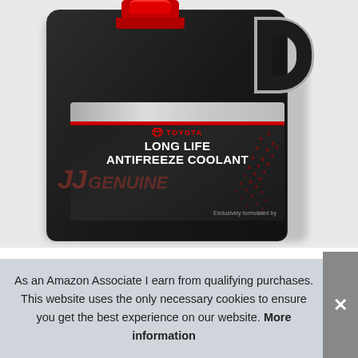[Figure (photo): A large black plastic jug of Toyota Long Life Antifreeze Coolant with a red cap, showing the product label with Toyota logo, red stripe, and the text 'LONG LIFE ANTIFREEZE COOLANT'. A red watermark/logo overlay is visible on the lower portion of the jug.]
As an Amazon Associate I earn from qualifying purchases. This website uses the only necessary cookies to ensure you get the best experience on our website. More information